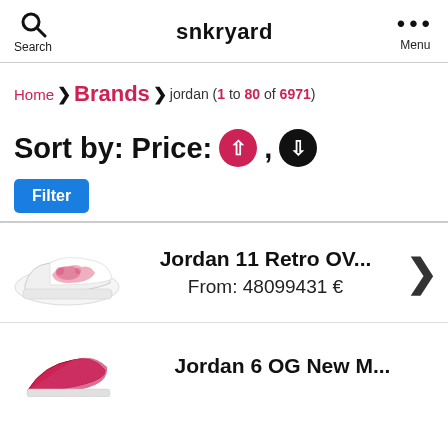snkryard | Search | Menu
Home > Brands > jordan (1 to 80 of 6971)
Sort by: Price: ↑, ↓
Filter
[Figure (photo): Jordan 11 Retro sneaker, white with pink/red floral pattern]
Jordan 11 Retro OV...
From: 48099431 €
[Figure (photo): Jordan 6 OG sneaker partially visible at bottom of page]
Jordan 6 OG New M...